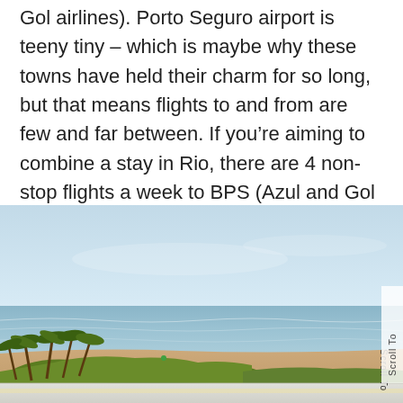Gol airlines). Porto Seguro airport is teeny tiny – which is maybe why these towns have held their charm for so long, but that means flights to and from are few and far between. If you're aiming to combine a stay in Rio, there are 4 non-stop flights a week to BPS (Azul and Gol airlines), so book early for a short itinerary!
[Figure (photo): Coastal beach scene viewed from elevated position showing palm trees and green vegetation in the foreground, a sandy beach, turquoise ocean water with gentle waves, and a pale blue sky. The landscape appears to be in a tropical Brazilian coastal town, likely Porto Seguro or Trancoso. A map strip is partially visible at the bottom.]